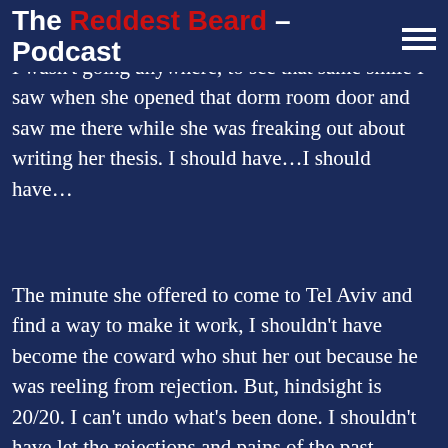The Reddest Beard – Podcast
year anniversary in the mail. I should have g… a…
I wasn't going anywhere, to see that same smile I saw when she opened that dorm room door and saw me there while she was freaking out about writing her thesis. I should have…I should have…
The minute she offered to come to Tel Aviv and find a way to make it work, I shouldn't have become the coward who shut her out because he was reeling from rejection. But, hindsight is 20/20. I can't undo what's been done. I shouldn't have let the rejections and pains of the past influence what was right in front of me. I shouldn't have been so damned stubborn. I shouldn't have ignored the pain I